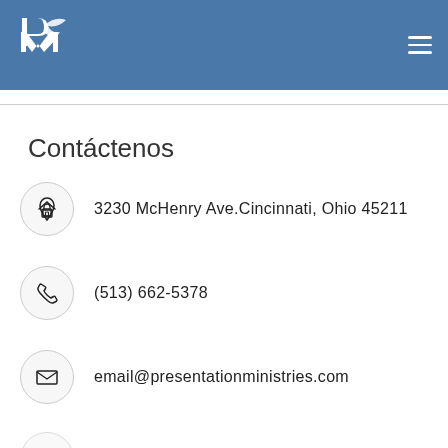PM logo and navigation menu
Contáctenos
3230 McHenry Ave.Cincinnati, Ohio 45211
(513) 662-5378
email@presentationministries.com